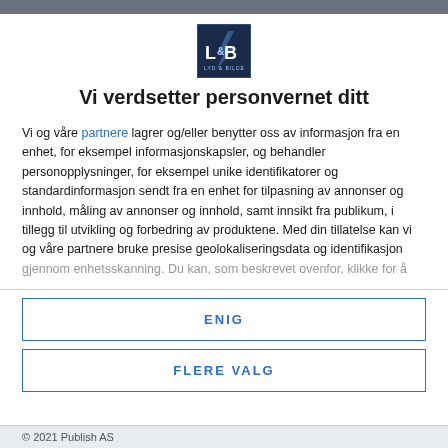[Figure (logo): Lyd & Bilde logo — dark blue square with stylized L&B letters in white/light blue]
Vi verdsetter personvernet ditt
Vi og våre partnere lagrer og/eller benytter oss av informasjon fra en enhet, for eksempel informasjonskapsler, og behandler personopplysninger, for eksempel unike identifikatorer og standardinformasjon sendt fra en enhet for tilpasning av annonser og innhold, måling av annonser og innhold, samt innsikt fra publikum, i tillegg til utvikling og forbedring av produktene. Med din tillatelse kan vi og våre partnere bruke presise geolokaliseringsdata og identifikasjon gjennom enhetsskanning. Du kan, som beskrevet ovenfor, klikke for å
ENIG
FLERE VALG
© 2021 Publish AS